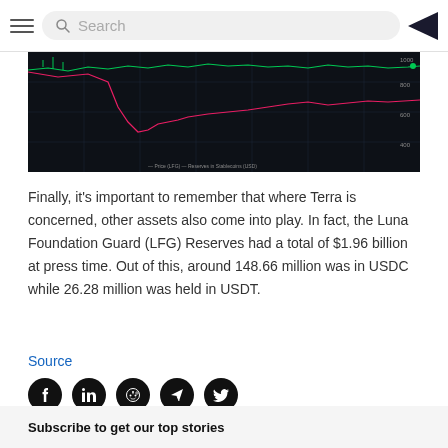Search
[Figure (screenshot): Dark-themed crypto price chart showing line charts of LUNA price and related metrics over time]
Finally, it's important to remember that where Terra is concerned, other assets also come into play. In fact, the Luna Foundation Guard (LFG) Reserves had a total of $1.96 billion at press time. Out of this, around 148.66 million was in USDC while 26.28 million was held in USDT.
Source
[Figure (infographic): Row of social media share icons: Facebook, LinkedIn, Reddit, Telegram, Twitter]
Subscribe to get our top stories